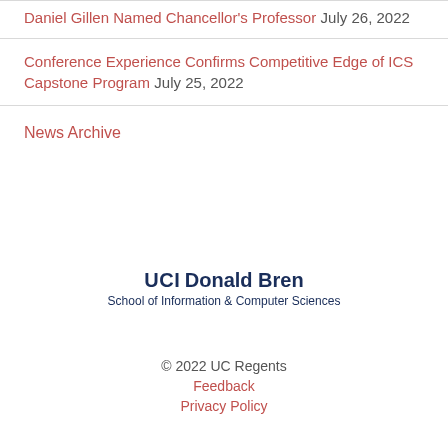Daniel Gillen Named Chancellor's Professor July 26, 2022
Conference Experience Confirms Competitive Edge of ICS Capstone Program July 25, 2022
News Archive
[Figure (logo): UCI Donald Bren School of Information & Computer Sciences logo]
© 2022 UC Regents
Feedback
Privacy Policy